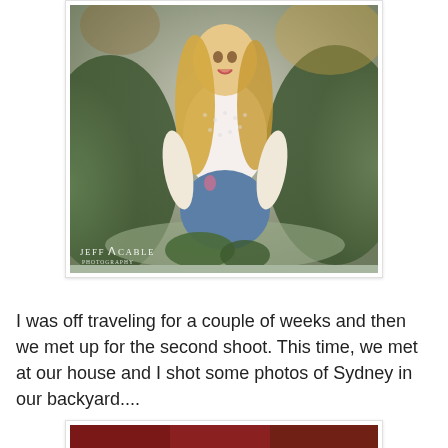[Figure (photo): Portrait photo of a young woman with long blonde hair wearing a white lace top and blue jeans, sitting outdoors in front of green hedges. Photo watermark reads 'Jeff A Cable Photography' in white text at bottom left.]
I was off traveling for a couple of weeks and then we met up for the second shoot. This time, we met at our house and I shot some photos of Sydney in our backyard....
[Figure (photo): Partial view of a second photo, cropped at bottom of page, showing red/warm tones.]